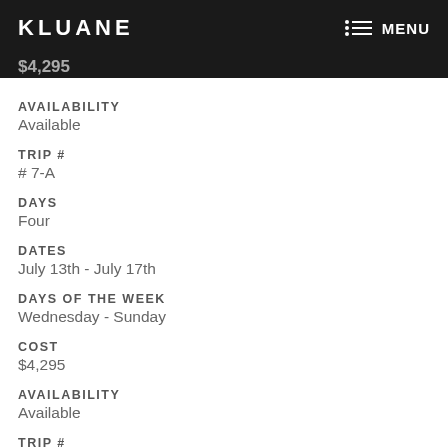KLUANE   MENU
AVAILABILITY
Available
TRIP #
# 7-A
DAYS
Four
DATES
July 13th - July 17th
DAYS OF THE WEEK
Wednesday - Sunday
COST
$4,295
AVAILABILITY
Available
TRIP #